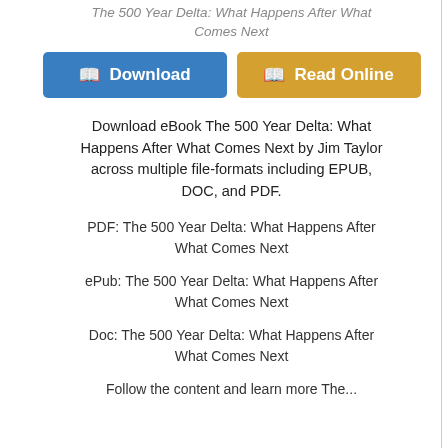The 500 Year Delta: What Happens After What Comes Next
[Figure (other): Two buttons: blue Download button and orange Read Online button with book icons]
Download eBook The 500 Year Delta: What Happens After What Comes Next by Jim Taylor across multiple file-formats including EPUB, DOC, and PDF.
PDF: The 500 Year Delta: What Happens After What Comes Next
ePub: The 500 Year Delta: What Happens After What Comes Next
Doc: The 500 Year Delta: What Happens After What Comes Next
Follow the content and learn more The...